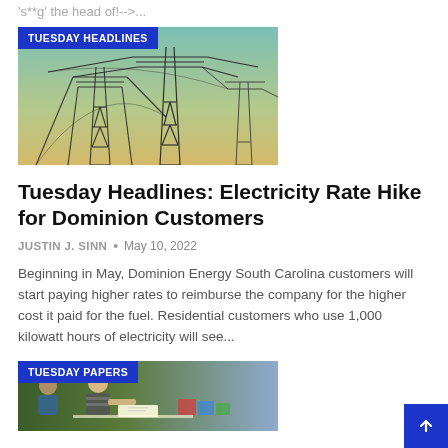's**g' the head of!-->...
[Figure (photo): Power transmission towers/electricity pylons against a teal/yellow sky, with a blue badge reading TUESDAY HEADLINES]
Tuesday Headlines: Electricity Rate Hike for Dominion Customers
JUSTIN J. SINN • May 10, 2022
Beginning in May, Dominion Energy South Carolina customers will start paying higher rates to reimburse the company for the higher cost it paid for the fuel. Residential customers who use 1,000 kilowatt hours of electricity will see...
[Figure (photo): A child drawing or writing at a desk, with a blue badge reading TUESDAY PAPERS]